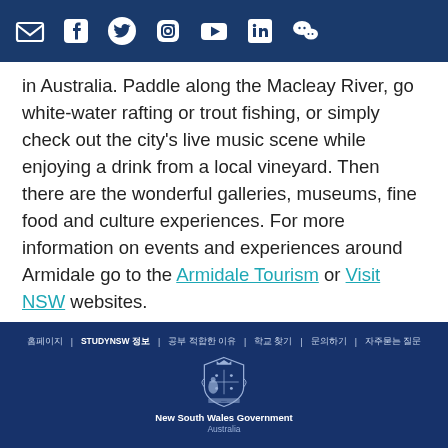[Social media icons: email, facebook, twitter, instagram, youtube, linkedin, wechat]
in Australia. Paddle along the Macleay River, go white-water rafting or trout fishing, or simply check out the city's live music scene while enjoying a drink from a local vineyard. Then there are the wonderful galleries, museums, fine food and culture experiences. For more information on events and experiences around Armidale go to the Armidale Tourism or Visit NSW websites.
홈페이지  STUDYNSW 정보  공부 적합한 이유  학교 찾기  문의하기  자주묻는 질문  New South Wales Government  Australia